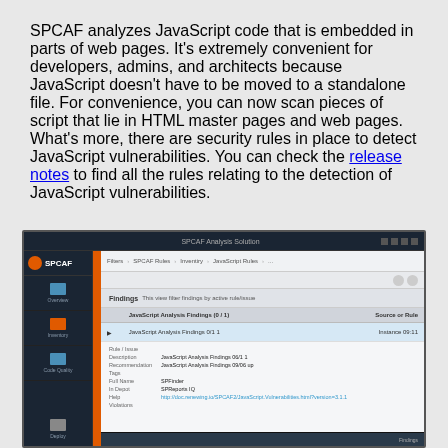SPCAF analyzes JavaScript code that is embedded in parts of web pages. It's extremely convenient for developers, admins, and architects because JavaScript doesn't have to be moved to a standalone file. For convenience, you can now scan pieces of script that lie in HTML master pages and web pages. What's more, there are security rules in place to detect JavaScript vulnerabilities. You can check the release notes to find all the rules relating to the detection of JavaScript vulnerabilities.
[Figure (screenshot): Screenshot of the SPCAF application interface showing a dark-themed UI with sidebar navigation, a results panel with a selected item, and a detail view showing rule information.]